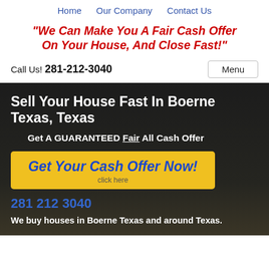Home   Our Company   Contact Us
"We Can Make You A Fair Cash Offer On Your House, And Close Fast!"
Call Us! 281-212-3040    Menu
Sell Your House Fast In Boerne Texas, Texas
Get A GUARANTEED Fair All Cash Offer
Get Your Cash Offer Now! click here
281 212 3040
We buy houses in Boerne Texas and around Texas.